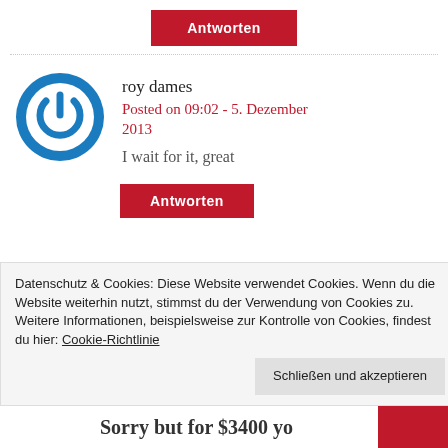Antworten
roy dames
Posted on 09:02 - 5. Dezember 2013
I wait for it, great
Antworten
Datenschutz & Cookies: Diese Website verwendet Cookies. Wenn du die Website weiterhin nutzt, stimmst du der Verwendung von Cookies zu.
Weitere Informationen, beispielsweise zur Kontrolle von Cookies, findest du hier: Cookie-Richtlinie
Schließen und akzeptieren
Sorry but for $3400 yo